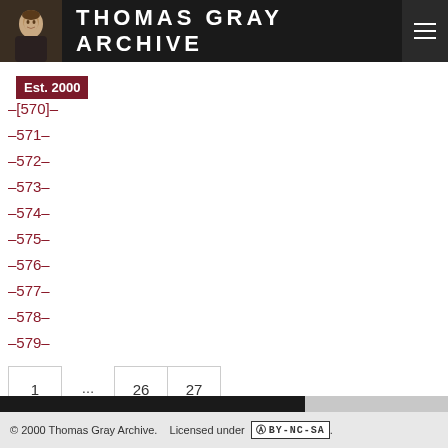THOMAS GRAY ARCHIVE
Est. 2000
–[570]–
–571–
–572–
–573–
–574–
–575–
–576–
–577–
–578–
–579–
| 1 | ... | 26 | 27 |
| 28 | 29 | 30 |  |
| 31 |  |  |  |
© 2000 Thomas Gray Archive.    Licensed under (cc) BY-NC-SA.